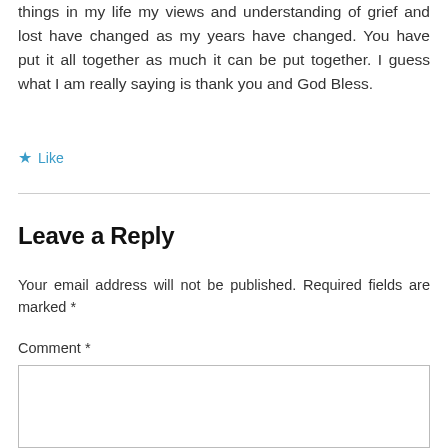things in my life my views and understanding of grief and lost have changed as my years have changed. You have put it all together as much it can be put together. I guess what I am really saying is thank you and God Bless.
★ Like
Leave a Reply
Your email address will not be published. Required fields are marked *
Comment *